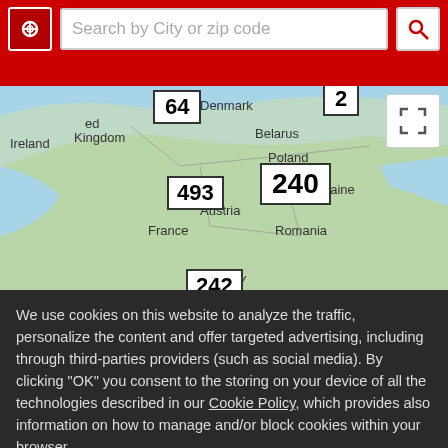[Figure (screenshot): Website header with red background containing a location icon, search bar with placeholder 'Search by City or zip code', and a search button icon]
[Figure (map): Google Maps view of Europe showing country labels (Ireland, Denmark, Belarus, Ukraine, Austria, France, Romania, Poland) with numbered cluster badges: 64, 2, 493, 240, 242 and others. Expand button in top-right corner.]
We use cookies on this website to analyze the traffic, personalize the content and offer targeted advertising, including through third-parties providers (such as social media). By clicking "OK" you consent to the storing on your device of all the technologies described in our Cookie Policy, which provides also information on how to manage and/or block cookies within your browser.